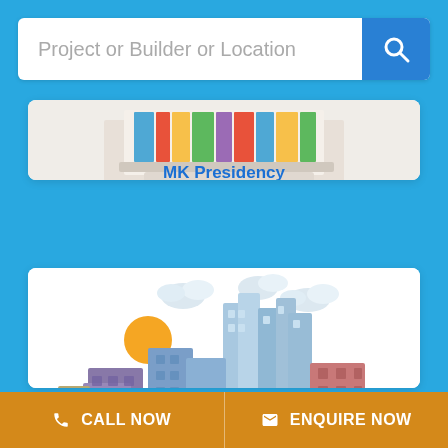[Figure (screenshot): Search bar with placeholder text 'Project or Builder or Location' and blue search button with magnifying glass icon]
Project or Builder or Location
MK Presidency
Residential
Sector 1, Visakhapatnam
₹ 24.7 Lac *
[Figure (illustration): Flat style cityscape illustration with buildings, clouds, and sun on white background]
CALL NOW
ENQUIRE NOW